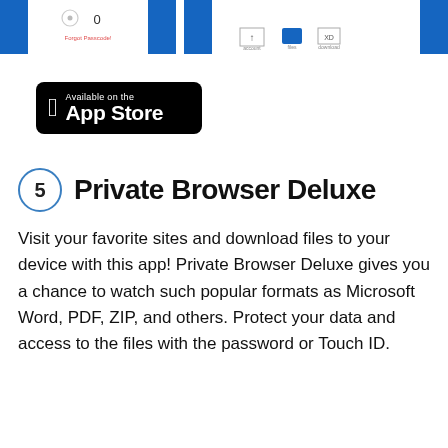[Figure (screenshot): Two mobile app screenshots at the top of the page — left shows a passcode/password entry screen with '0' and 'Forgot Passcode?' text; right shows a file browser interface with icons and blue accents.]
[Figure (logo): Apple App Store badge: black rounded rectangle with Apple logo and text 'Available on the App Store']
5  Private Browser Deluxe
Visit your favorite sites and download files to your device with this app! Private Browser Deluxe gives you a chance to watch such popular formats as Microsoft Word, PDF, ZIP, and others. Protect your data and access to the files with the password or Touch ID.